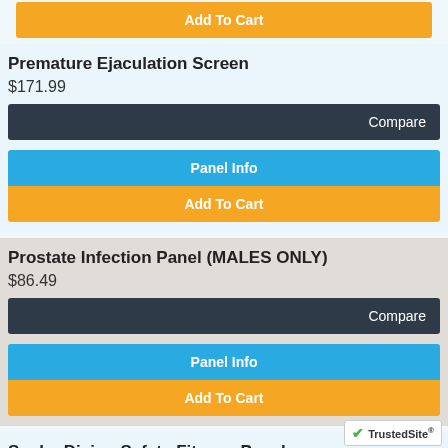Add To Cart
Premature Ejaculation Screen
$171.99
Compare
Panel Info
Add To Cart
Prostate Infection Panel (MALES ONLY)
$86.49
Compare
Panel Info
Add To Cart
Scuba Diving Safety Fitness Panel
$128.99
Compare
Panel Info
TrustedSite